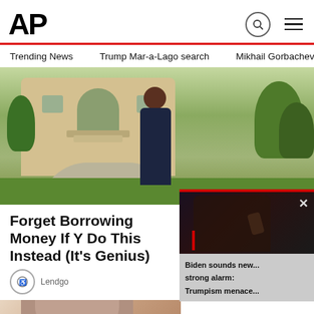AP
Trending News   Trump Mar-a-Lago search   Mikhail Gorbachev d
[Figure (photo): Woman in dark dress standing in front of a large house with arched entry and green landscaping]
Forget Borrowing Money If You Do This Instead (It's Genius)
Lendgo
[Figure (photo): Biden speaking at podium, dark background with red accent bar at top]
Biden sounds new... strong alarm: Trumpism menace...
[Figure (photo): Partial photo of a woman with blonde hair, bottom of page]